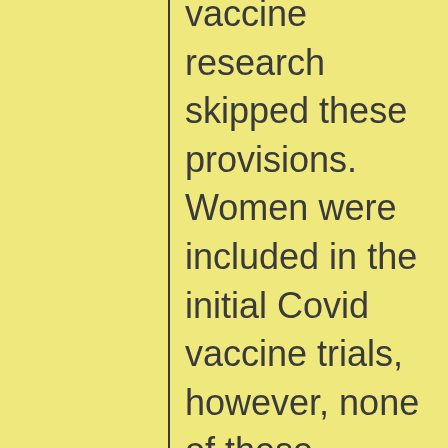vaccine research skipped these provisions. Women were included in the initial Covid vaccine trials, however, none of these studies disaggrega